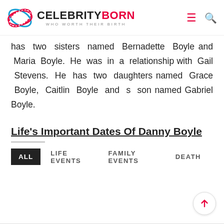CELEBRITYBORN WHO WORTH THEIR BIRTH
has two sisters named Bernadette Boyle and Maria Boyle. He was in a relationship with Gail Stevens. He has two daughters named Grace Boyle, Caitlin Boyle and s son named Gabriel Boyle.
Life's Important Dates Of Danny Boyle
ALL   LIFE EVENTS   FAMILY EVENTS   DEATH